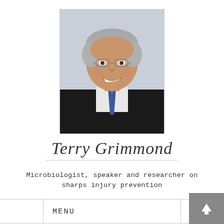[Figure (photo): Portrait photo of Terry Grimmond, a man with grey hair, glasses, wearing a suit and tie, smiling]
Terry Grimmond
Microbiologist, speaker and researcher on sharps injury prevention
MENU
Pistols and Poise: Day 24 in Sierra Leone